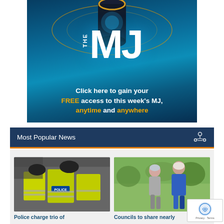[Figure (illustration): THE MJ advertisement banner with a smart speaker device, teal/blue gradient background, large MJ logo, and text: 'Click here to gain your FREE access to this week's MJ, anytime and anywhere']
Most Popular News
[Figure (photo): Police officers in high-visibility yellow jackets with 'POLICE' text, crowd scene in background]
[Figure (photo): Two elderly people jogging/running outdoors, man in blue jacket and woman in grey top]
Police charge trio of
Councils to share nearly